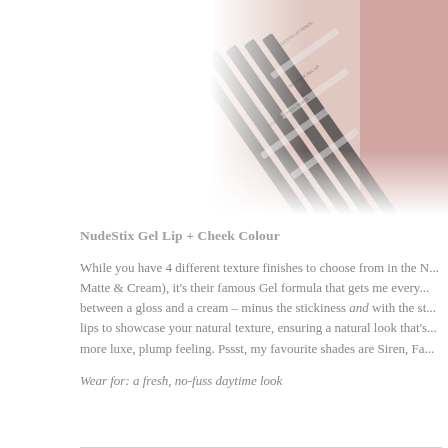[Figure (photo): Close-up photo of multiple NudeStix lip pencils/sticks arranged diagonally, showing dark pencil barrels with text labels, alongside warm pink/red lip color products. Image is partially faded/washed out on the left side.]
NudeStix Gel Lip + Cheek Colour
While you have 4 different texture finishes to choose from in the N... Matte & Cream), it's their famous Gel formula that gets me every... between a gloss and a cream – minus the stickiness and with the st... lips to showcase your natural texture, ensuring a natural look that's... more luxe, plump feeling. Pssst, my favourite shades are Siren, Fa...
Wear for: a fresh, no-fuss daytime look